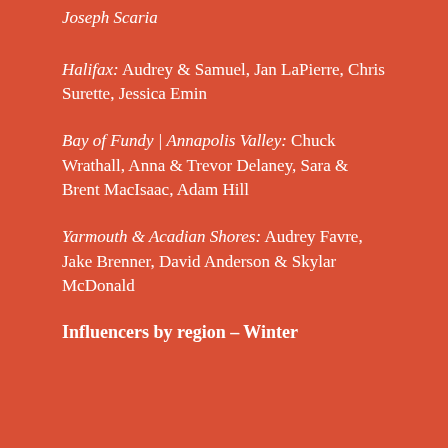Joseph Scaria
Halifax: Audrey & Samuel, Jan LaPierre, Chris Surette, Jessica Emin
Bay of Fundy | Annapolis Valley: Chuck Wrathall, Anna & Trevor Delaney, Sara & Brent MacIsaac, Adam Hill
Yarmouth & Acadian Shores: Audrey Favre, Jake Brenner, David Anderson & Skylar McDonald
Influencers by region – Winter